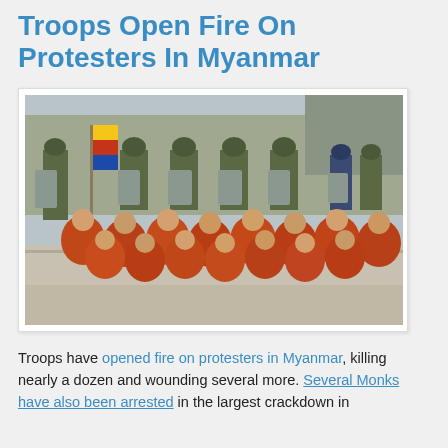Troops Open Fire On Protesters In Myanmar
[Figure (photo): Buddhist monks in red robes kneeling on a street facing a line of military soldiers in helmets holding riot shields, Myanmar protest scene]
Troops have opened fire on protesters in Myanmar, killing nearly a dozen and wounding several more. Several Monks have also been arrested in the largest crackdown in